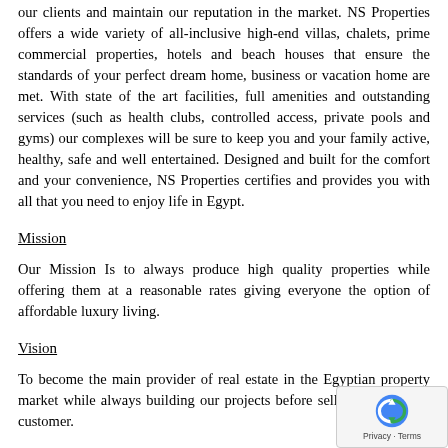our clients and maintain our reputation in the market. NS Properties offers a wide variety of all-inclusive high-end villas, chalets, prime commercial properties, hotels and beach houses that ensure the standards of your perfect dream home, business or vacation home are met. With state of the art facilities, full amenities and outstanding services (such as health clubs, controlled access, private pools and gyms) our complexes will be sure to keep you and your family active, healthy, safe and well entertained. Designed and built for the comfort and your convenience, NS Properties certifies and provides you with all that you need to enjoy life in Egypt.
Mission
Our Mission Is to always produce high quality properties while offering them at a reasonable rates giving everyone the option of affordable luxury living.
Vision
To become the main provider of real estate in the Egyptian property market while always building our projects before selling them to the customer.